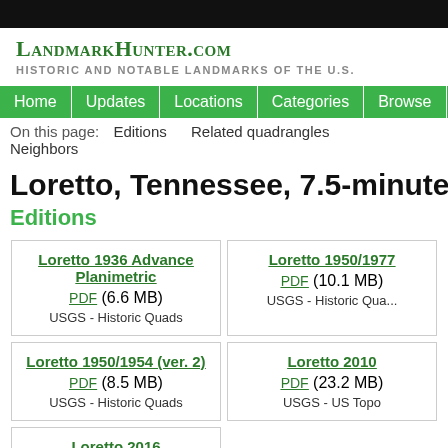LandmarkHunter.com
HISTORIC AND NOTABLE LANDMARKS OF THE U.S.
Home | Updates | Locations | Categories | Browse | Sources
On this page: Editions Related quadrangles Neighbors
Loretto, Tennessee, 7.5-minute Quadra...
Editions
| Loretto 1936 Advance Planimetric
PDF (6.6 MB)
USGS - Historic Quads | Loretto 1950/1977
PDF (10.1 MB)
USGS - Historic Qua... |
| Loretto 1950/1954 (ver. 2)
PDF (8.5 MB)
USGS - Historic Quads | Loretto 2010
PDF (23.2 MB)
USGS - US Topo |
| Loretto 2016
PDF (25.5 MB)
USGS - US Topo |  |